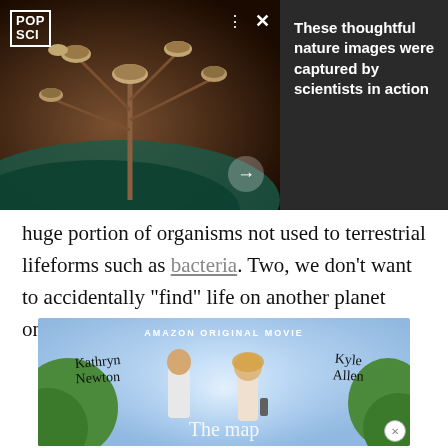[Figure (screenshot): Pop Sci branded image carousel showing nature/fungi photo with dark background, navigation dots and X close button, arrow button, and text panel reading 'These thoughtful nature images were captured by scientists in action']
huge portion of organisms not used to terrestrial lifeforms such as bacteria. Two, we don't want to accidentally “find” life on another planet only to realize that it’s our own.
[Figure (photo): Amazon Original Movie advertisement featuring Kathryn Newton and Kyle Allen, with title 'The map...' at the bottom]